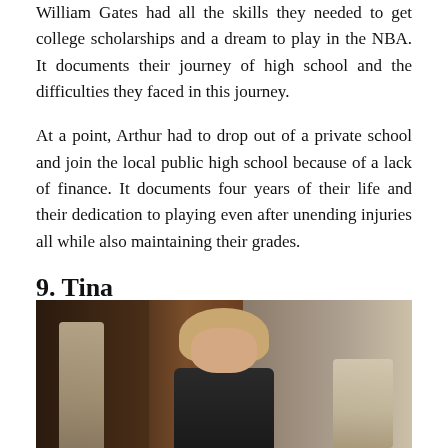William Gates had all the skills they needed to get college scholarships and a dream to play in the NBA. It documents their journey of high school and the difficulties they faced in this journey.
At a point, Arthur had to drop out of a private school and join the local public high school because of a lack of finance. It documents four years of their life and their dedication to playing even after unending injuries all while also maintaining their grades.
9. Tina
[Figure (photo): A woman with blonde hair seated in an ornate room with wooden door and decorative elements, statue visible on left side]